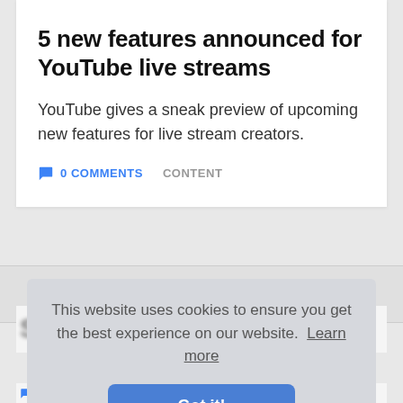5 new features announced for YouTube live streams
YouTube gives a sneak preview of upcoming new features for live stream creators.
0 COMMENTS   CONTENT
This website uses cookies to ensure you get the best experience on our website. Learn more
Got it!